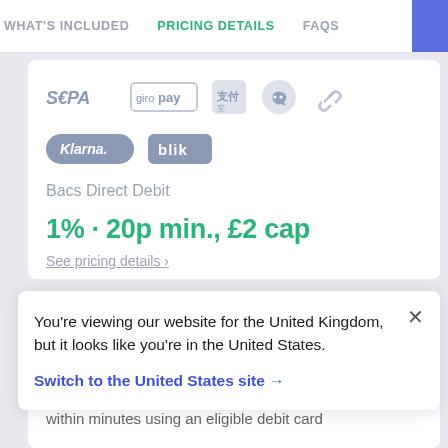WHAT'S INCLUDED   PRICING DETAILS   FAQS
[Figure (logo): Payment method logos: SEPA, Giropay, Alipay, WeChat Pay, link/redirect icon]
[Figure (logo): Payment method logos: Klarna, BLIK]
Bacs Direct Debit
1% · 20p min., £2 cap
See pricing details ›
You're viewing our website for the United Kingdom, but it looks like you're in the United States.
Switch to the United States site →
within minutes using an eligible debit card